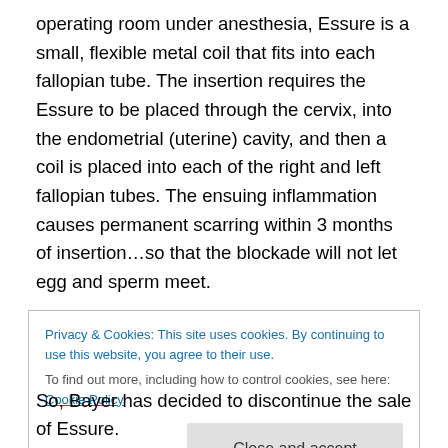operating room under anesthesia, Essure is a small, flexible metal coil that fits into each fallopian tube. The insertion requires the Essure to be placed through the cervix, into the endometrial (uterine) cavity, and then a coil is placed into each of the right and left fallopian tubes. The ensuing inflammation causes permanent scarring within 3 months of insertion…so that the blockade will not let egg and sperm meet.
The device has had a troubled past. The FDA placed a black box warning on the Essure warning physicians and
Privacy & Cookies: This site uses cookies. By continuing to use this website, you agree to their use.
To find out more, including how to control cookies, see here: Cookie Policy
So, Bayer has decided to discontinue the sale of Essure.